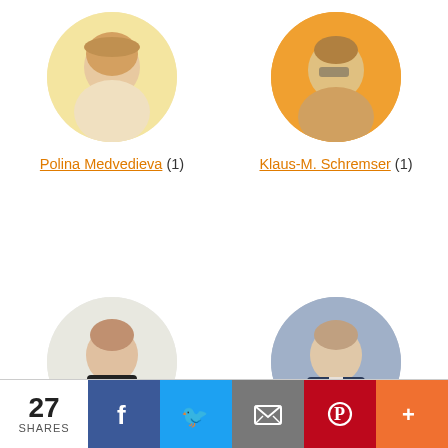[Figure (photo): Circular avatar photo of Polina Medvedieva, woman with light background]
Polina Medvedieva (1)
[Figure (photo): Circular avatar photo of Klaus-M. Schremser, man with glasses on orange background]
Klaus-M. Schremser (1)
[Figure (photo): Circular avatar photo of Melanie Deziel, woman in black on light background]
Melanie Deziel (1)
[Figure (photo): Circular avatar photo of Jonathan Rick, man in suit on blue-gray background]
Jonathan Rick (1)
[Figure (photo): Circular avatar photo of person outdoors]
[Figure (photo): Circular avatar photo of woman in nature]
27 SHARES
Facebook share button
Twitter share button
Email share button
Pinterest share button
More share button